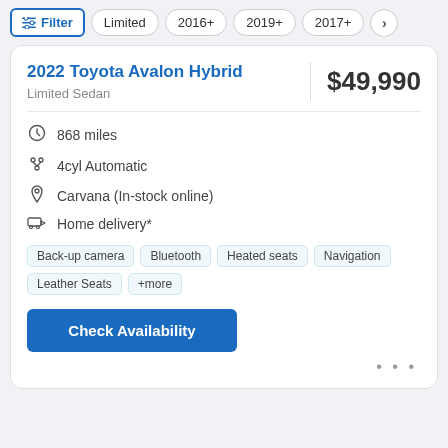Filter | Limited | 2016+ | 2019+ | 2017+ | >
2022 Toyota Avalon Hybrid
Limited Sedan
$49,990
868 miles
4cyl Automatic
Carvana (In-stock online)
Home delivery*
Back-up camera  Bluetooth  Heated seats  Navigation  Leather Seats  +more
Check Availability
...